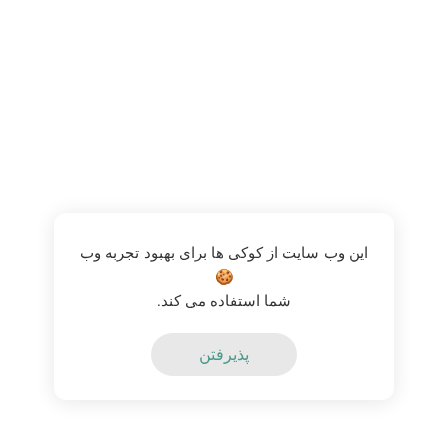این وب سایت از کوکی ها برای بهبود تجربه وب 🍪 شما استفاده می کند.
پذیرفتن